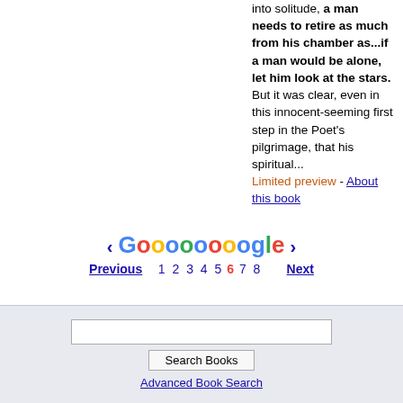into solitude, a man needs to retire as much from his chamber as...if a man would be alone, let him look at the stars. But it was clear, even in this innocent-seeming first step in the Poet's pilgrimage, that his spiritual...
Limited preview - About this book
[Figure (other): Google pagination bar with Previous, page numbers 1-8, and Next navigation links. Page 6 is highlighted in red. Colorful Google logo displayed.]
Search Books
Advanced Book Search